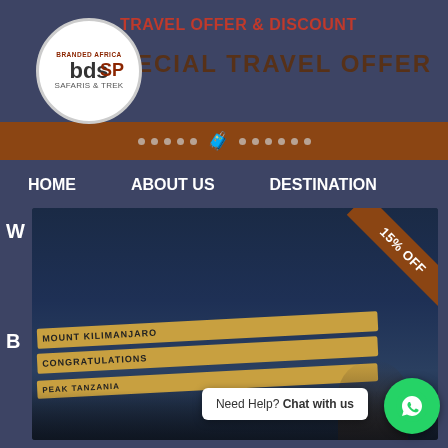[Figure (logo): Branded Africa BDS Safaris and Trekking circular logo with text]
TRAVEL OFFER & DISCOUNT
SPECIAL TRAVEL OFFER
HOME   ABOUT US   DESTINATION
[Figure (photo): Mount Kilimanjaro summit signs with a person, featuring a 15% OFF ribbon in the corner]
Need Help? Chat with us